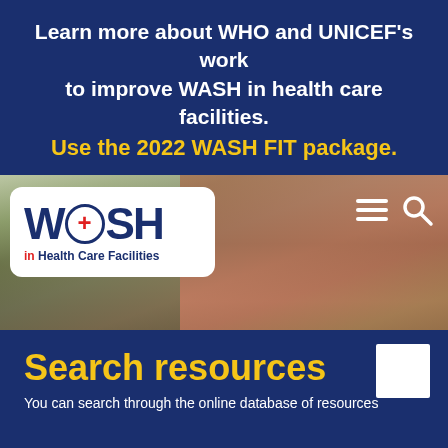Learn more about WHO and UNICEF's work to improve WASH in health care facilities. Use the 2022 WASH FIT package.
[Figure (photo): Website screenshot showing the WASH in Health Care Facilities website. A person in pink/red scrubs leans over a water pump outdoors, with lush greenery in background. The site has a WASH logo (white rounded box, top-left), hamburger menu and search icons (top-right).]
Search resources
You can search through the online database of resources